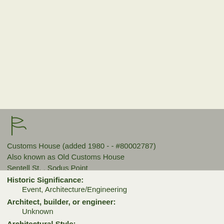[Figure (illustration): Small flag icon (pennant/historic marker symbol) in dark olive/green color]
Customs House (added 1980 - - #80002787)
Also known as Old Customs House
Sentell St. , Sodus Point
Historic Significance:
Event, Architecture/Engineering
Architect, builder, or engineer:
Unknown
Architectural Style: